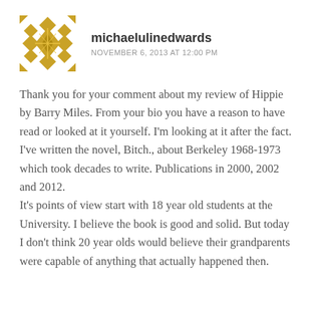[Figure (logo): Gold geometric/quilted diamond pattern avatar icon]
michaelulinedwards
NOVEMBER 6, 2013 AT 12:00 PM
Thank you for your comment about my review of Hippie by Barry Miles. From your bio you have a reason to have read or looked at it yourself. I'm looking at it after the fact. I've written the novel, Bitch., about Berkeley 1968-1973 which took decades to write. Publications in 2000, 2002 and 2012.
It's points of view start with 18 year old students at the University. I believe the book is good and solid. But today I don't think 20 year olds would believe their grandparents were capable of anything that actually happened then.